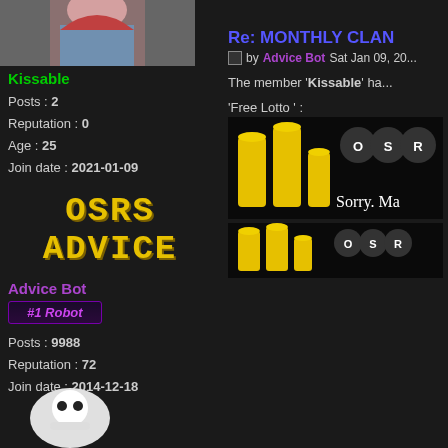[Figure (photo): Profile photo of user Kissable - woman with red hair]
Kissable
Posts : 2
Reputation : 0
Age : 25
Join date : 2021-01-09
[Figure (logo): OSRS ADVICE logo in yellow pixelated font]
Advice Bot
#1 Robot
Posts : 9988
Reputation : 72
Join date : 2014-12-18
[Figure (illustration): Bot avatar at bottom of left column]
Re: MONTHLY CLAN
by Advice Bot Sat Jan 09, 20...
The member 'Kissable' ha...
'Free Lotto ' :
[Figure (screenshot): Image showing OSRS-themed content with yellow cylinders and text Sorry, Ma...]
[Figure (screenshot): Second OSRS-themed image with yellow cylinders]